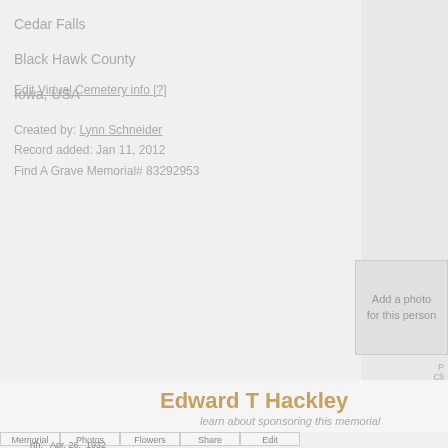Cedar Falls
Black Hawk County
Iowa, USA
Edit Virtual Cemetery info [?]
Created by: Lynn Schneider
Record added: Jan 11, 2012
Find A Grave Memorial# 83292953
[Figure (other): Add a photo for this person button/box]
P
Clic
Edward T Hackley
learn about sponsoring this memorial
Memorial  Photos  Flowers  Share  Edit
rth:  Apr. 26, 1932